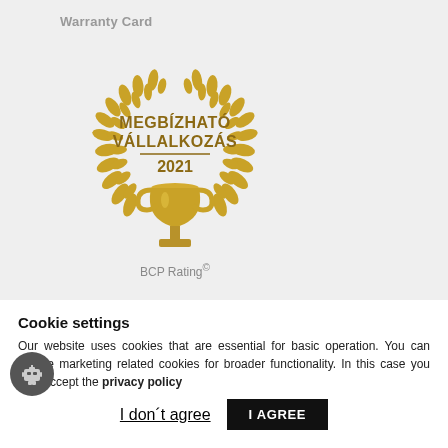Warranty Card
[Figure (logo): Gold laurel wreath award badge with trophy, text 'MEGBÍZHATÓ VÁLLALKOZÁS 2021', and 'BCP Rating' label below]
Cookie settings
Our website uses cookies that are essential for basic operation. You can enable marketing related cookies for broader functionality. In this case you also accept the privacy policy